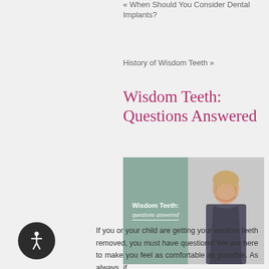« When Should You Consider Dental Implants?
History of Wisdom Teeth »
Wisdom Teeth: Questions Answered
[Figure (photo): Book cover and smiling woman photo for 'Wisdom Teeth: questions answered']
If you or your child are getting your wisdom teeth removed, you must have questions! We are here to make you feel as comfortable as possible. As always, if